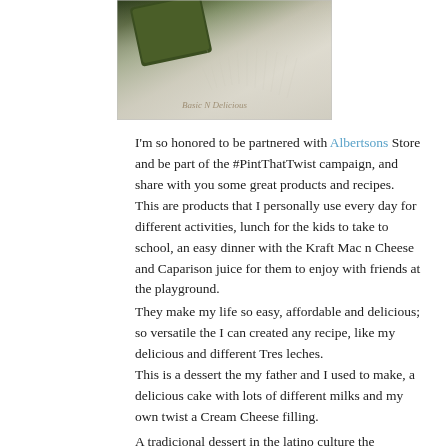[Figure (photo): Close-up photo of what appears to be a green food item on a light furry/fluffy surface with watermark 'Basic N Delicious' in bottom right corner]
I'm so honored to be partnered with Albertsons Store and be part of the #PintThatTwist campaign, and share with you some great products and recipes.
This are products that I personally use every day for different activities, lunch for the kids to take to school, an easy dinner with the Kraft Mac n Cheese and Caparison juice for them to enjoy with friends at the playground.
They make my life so easy, affordable and delicious; so versatile the I can created any recipe, like my delicious and different Tres leches.
This is a dessert the my father and I used to make, a delicious cake with lots of different milks and my own twist a Cream Cheese filling.
A tradicional dessert in the latino culture the everybody